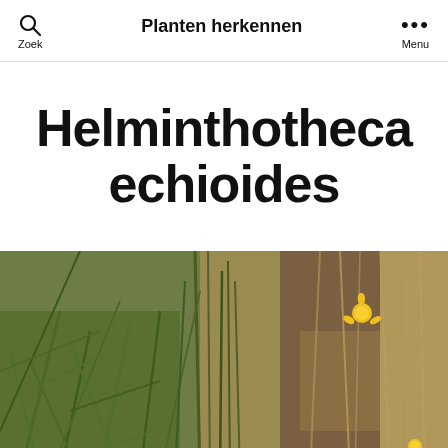Planten herkennen
Helminthotheca echioides
[Figure (photo): Photograph of Helminthotheca echioides plant growing in a grassy field, showing green leafy stems and small yellow dandelion-like flowers against dry grass background.]